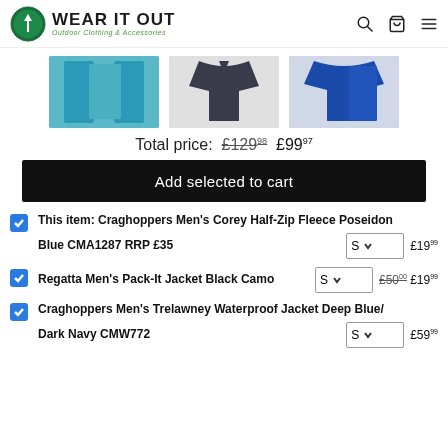Wear It Out — Outdoor Clothing & Accessories
[Figure (photo): Three product images: teal fleece, dark jacket, blue jacket]
Total price: £129.98 £99.97
Add selected to cart
This item: Craghoppers Men's Corey Half-Zip Fleece Poseidon Blue CMA1287 RRP £35  S  £19.99
Regatta Men's Pack-It Jacket Black Camo  S  £50.00 £19.99
Craghoppers Men's Trelawney Waterproof Jacket Deep Blue/ Dark Navy CMW772  S  £59.99